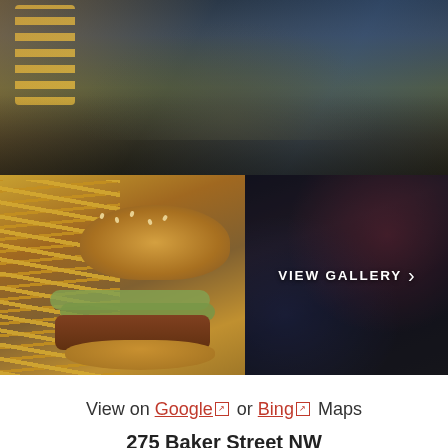[Figure (photo): Aerial view of a crowded indoor entertainment venue with arcade games and tables, people milling about]
[Figure (photo): Close-up of a burger with pickles and sesame seed bun served with french fries]
[Figure (photo): Dimly lit bar/entertainment venue interior with overlay text VIEW GALLERY and a right arrow]
View on Google or Bing Maps
275 Baker Street NW
Atlanta, GA 30313
404-525-0728